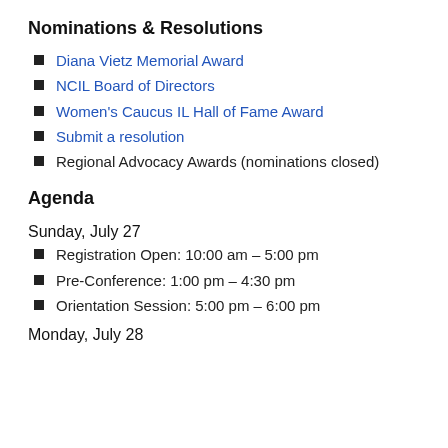Nominations & Resolutions
Diana Vietz Memorial Award
NCIL Board of Directors
Women's Caucus IL Hall of Fame Award
Submit a resolution
Regional Advocacy Awards (nominations closed)
Agenda
Sunday, July 27
Registration Open: 10:00 am – 5:00 pm
Pre-Conference: 1:00 pm – 4:30 pm
Orientation Session: 5:00 pm – 6:00 pm
Monday, July 28